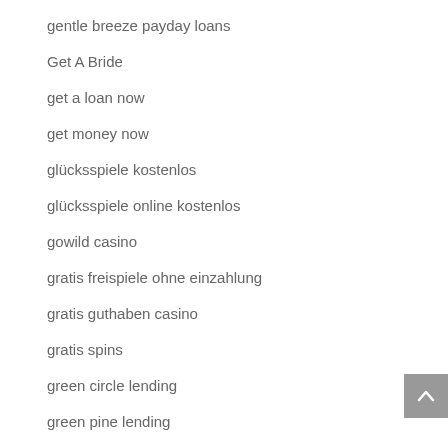gentle breeze payday loans
Get A Bride
get a loan now
get money now
glücksspiele kostenlos
glücksspiele online kostenlos
gowild casino
gratis freispiele ohne einzahlung
gratis guthaben casino
gratis spins
green circle lending
green pine lending
green pine lending reviews
green tree lending